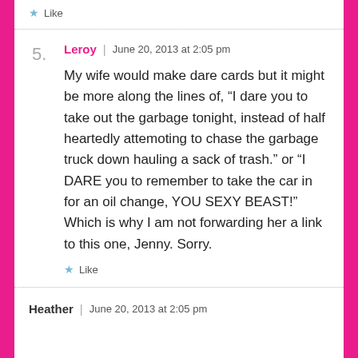Like
Leroy | June 20, 2013 at 2:05 pm
My wife would make dare cards but it might be more along the lines of, “I dare you to take out the garbage tonight, instead of half heartedly attemoting to chase the garbage truck down hauling a sack of trash.” or “I DARE you to remember to take the car in for an oil change, YOU SEXY BEAST!” Which is why I am not forwarding her a link to this one, Jenny. Sorry.
Like
Heather | June 20, 2013 at 2:05 pm